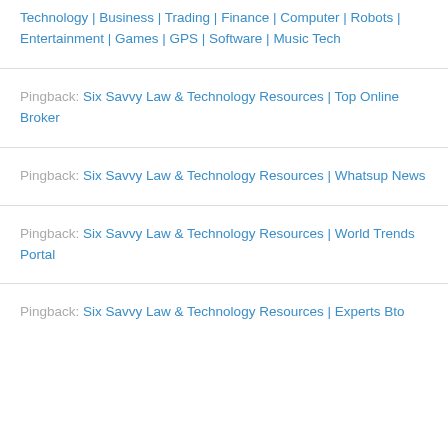Technology | Business | Trading | Finance | Computer | Robots | Entertainment | Games | GPS | Software | Music Tech
Pingback: Six Savvy Law & Technology Resources | Top Online Broker
Pingback: Six Savvy Law & Technology Resources | Whatsup News
Pingback: Six Savvy Law & Technology Resources | World Trends Portal
Pingback: Six Savvy Law & Technology Resources | Experts Bto